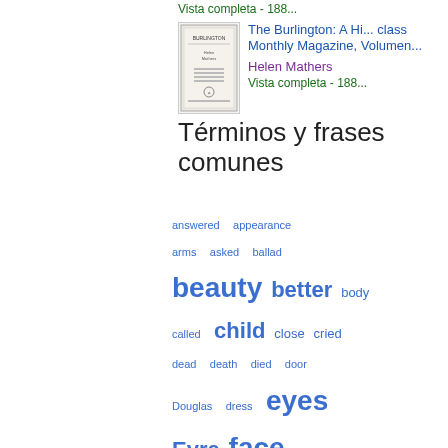Vista completa - 188...
[Figure (other): Thumbnail image of The Burlington book cover]
The Burlington: A Hi... class Monthly Magazine, Volumen... Helen Mathers Vista completa - 188...
Términos y frases comunes
answered  appearance  arms  asked  ballad  beauty  better  body  called  child  close  cried  dead  death  died  door  Douglas  dress  eyes  Eyre  face  father  feeling  flowers  followed  Frank  gave  give  given  grave  hand  happy  head  hear  heard